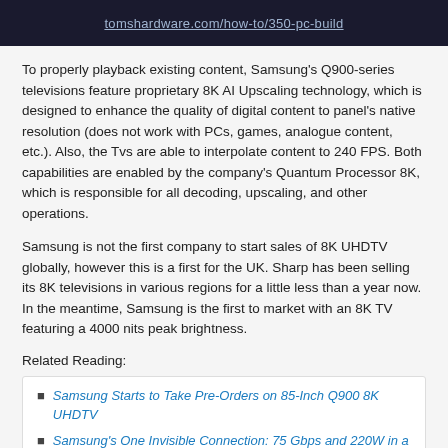[Figure (screenshot): Dark banner with URL text: tomshardware.com/how-to/350-pc-build]
To properly playback existing content, Samsung's Q900-series televisions feature proprietary 8K AI Upscaling technology, which is designed to enhance the quality of digital content to panel's native resolution (does not work with PCs, games, analogue content, etc.). Also, the Tvs are able to interpolate content to 240 FPS. Both capabilities are enabled by the company's Quantum Processor 8K, which is responsible for all decoding, upscaling, and other operations.
Samsung is not the first company to start sales of 8K UHDTV globally, however this is a first for the UK. Sharp has been selling its 8K televisions in various regions for a little less than a year now. In the meantime, Samsung is the first to market with an 8K TV featuring a 4000 nits peak brightness.
Related Reading:
Samsung Starts to Take Pre-Orders on 85-Inch Q900 8K UHDTV
Samsung's One Invisible Connection: 75 Gbps and 220W in a Ultra-Thin Cable